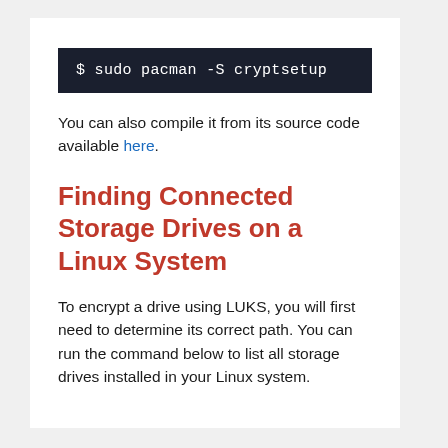[Figure (screenshot): Terminal command block showing: $ sudo pacman -S cryptsetup on dark background]
You can also compile it from its source code available here.
Finding Connected Storage Drives on a Linux System
To encrypt a drive using LUKS, you will first need to determine its correct path. You can run the command below to list all storage drives installed in your Linux system.